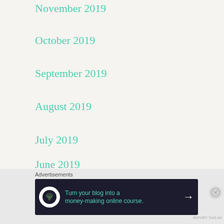November 2019
October 2019
September 2019
August 2019
July 2019
June 2019
May 2019
Advertisements
[Figure (infographic): Dark banner advertisement: Turn your blog into a money-making online course. with a teach-online icon and arrow.]